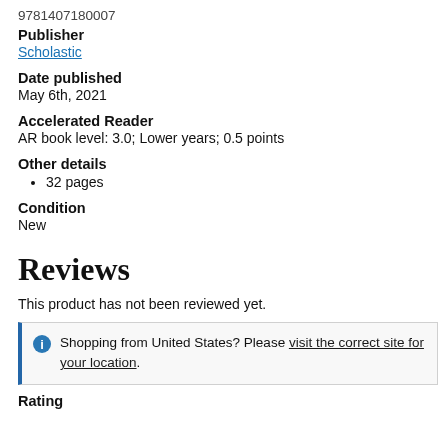9781407180007
Publisher
Scholastic
Date published
May 6th, 2021
Accelerated Reader
AR book level: 3.0; Lower years; 0.5 points
Other details
32 pages
Condition
New
Reviews
This product has not been reviewed yet.
Shopping from United States? Please visit the correct site for your location.
Rating